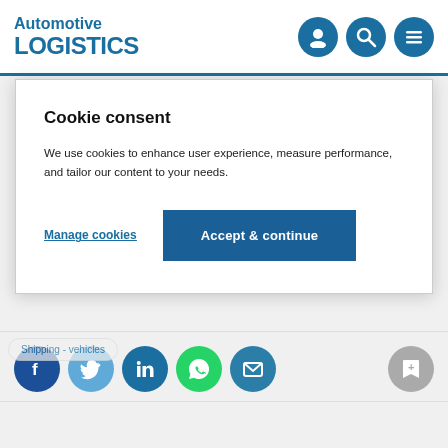Automotive LOGISTICS
Cookie consent
We use cookies to enhance user experience, measure performance, and tailor our content to your needs.
Manage cookies | Accept & continue
Shipping - vehicles
[Figure (infographic): Social sharing icons row: Facebook, Twitter, LinkedIn, WhatsApp, Email, and a bookmark icon]